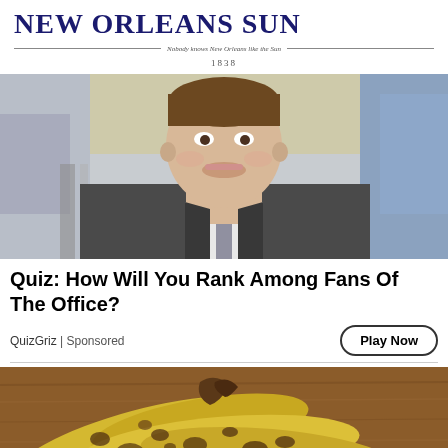NEW ORLEANS SUN — Nobody knows New Orleans like the Sun — 1838
[Figure (photo): Close-up photo of a man in a suit smiling, appears to be Jim from The Office]
Quiz: How Will You Rank Among Fans Of The Office?
QuizGriz | Sponsored
Play Now
[Figure (photo): Photo of overripe spotted bananas on a wooden surface]